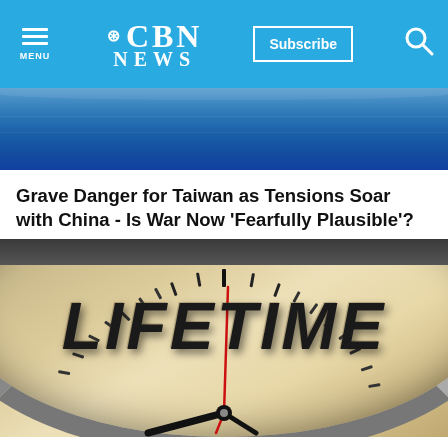CBN NEWS  Subscribe
[Figure (photo): Top partial image — blue background, likely a water or sky scene]
Grave Danger for Taiwan as Tensions Soar with China - Is War Now 'Fearfully Plausible'?
[Figure (photo): Close-up of a clock face with the word LIFETIME spelled out in bold 3D letters replacing the hour markers, with clock hands including a red second hand pointing near 12]